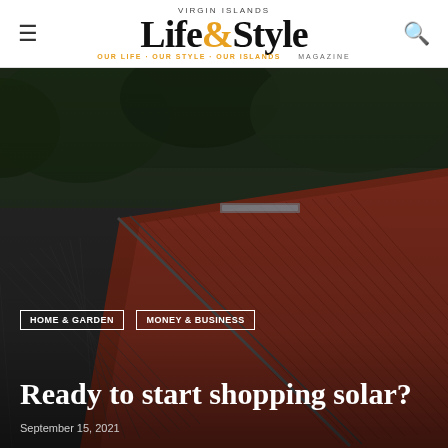Virgin Islands Life & Style Magazine
[Figure (photo): Overhead view of corrugated metal rooftops in dark and red/rust colors with solar panels, lush green trees in the background]
HOME & GARDEN
MONEY & BUSINESS
Ready to start shopping solar?
September 15, 2021